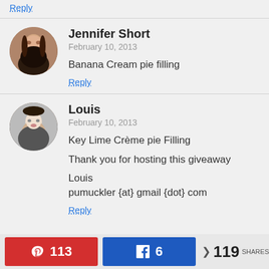Reply
Jennifer Short
February 10, 2013
Banana Cream pie filling
Reply
Louis
February 10, 2013
Key Lime Crème pie Filling

Thank you for hosting this giveaway

Louis
pumuckler {at} gmail {dot} com
Reply
113  6  119 SHARES